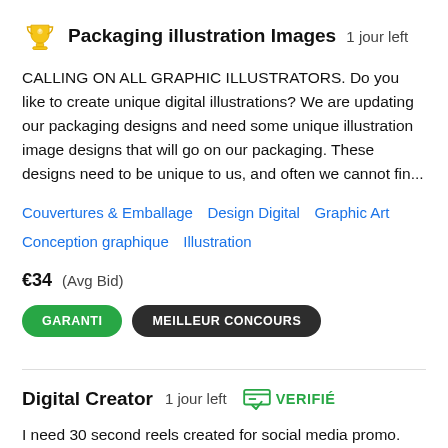Packaging illustration Images  1 jour left
CALLING ON ALL GRAPHIC ILLUSTRATORS. Do you like to create unique digital illustrations? We are updating our packaging designs and need some unique illustration image designs that will go on our packaging. These designs need to be unique to us, and often we cannot fin...
Couvertures & Emballage   Design Digital   Graphic Art   Conception graphique   Illustration
€34  (Avg Bid)
GARANTI   MEILLEUR CONCOURS
Digital Creator  1 jour left   VERIFIÉ
I need 30 second reels created for social media promo.
Design publicitaire   Design Digital   Production de vidéos
€66  (Avg Bid)